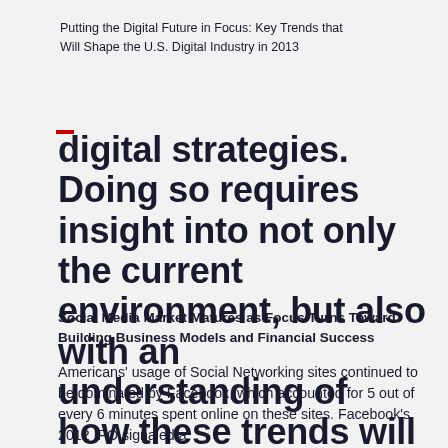Putting the Digital Future in Focus: Key Trends that Will Shape the U.S. Digital Industry in 2013
digital strategies. Doing so requires insight into not only the current environment, but also with an understanding of how these trends will shape the future. As we look to the year ahead, here is a preview of the key trends and issues you need to know.
Social Media Market Matures as Focus Turns Toward Building Business Models and Financial Success
Americans' usage of Social Networking sites continued to be dominated by Facebook, which accounted for 5 out of every 6 minutes spent online on these sites. Facebook's 2012 IPO signaled a